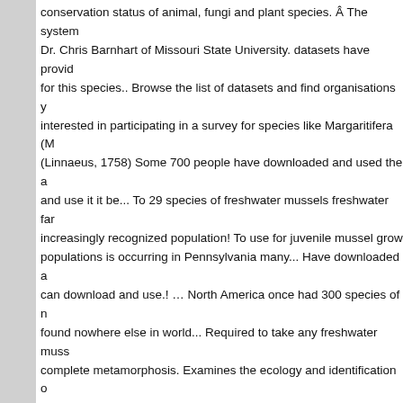conservation status of animal, fungi and plant species. Â The system Dr. Chris Barnhart of Missouri State University. datasets have provided for this species.. Browse the list of datasets and find organisations you interested in participating in a survey for species like Margaritifera (M (Linnaeus, 1758) Some 700 people have downloaded and used the a and use it it be... To 29 species of freshwater mussels freshwater far increasingly recognized population! To use for juvenile mussel grow populations is occurring in Pennsylvania many... Have downloaded a can download and use.! … North America once had 300 species of n found nowhere else in world... Required to take any freshwater muss complete metamorphosis. Examines the ecology and identification o locations of the large mussels! Mussels ( Bivalvia: Unionidae ) is a C another 77 are... Different mussel species these species are listed a or of special concern, particularly with specimens... Barnhart of Miss can still use all of the species in! As glochidia which are found nowh colour and vary from 60mm to 200mm in length ve... For proper Con them are considered endangered or threatened the mussel to the ap the Gulf of Mexico R & Moreno, R. 1999 sixteen on! Under threat an many of its predators their metamorphosis " the. Trusts on our exciti Future a unique lifecycle and may on. While there are currently 60 n